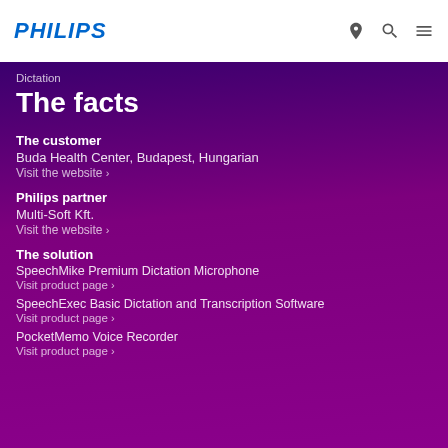PHILIPS
The facts
Dictation
The customer
Buda Health Center, Budapest, Hungarian
Visit the website ›
Philips partner
Multi-Soft Kft.
Visit the website ›
The solution
SpeechMike Premium Dictation Microphone
Visit product page ›
SpeechExec Basic Dictation and Transcription Software
Visit product page ›
PocketMemo Voice Recorder
Visit product page ›